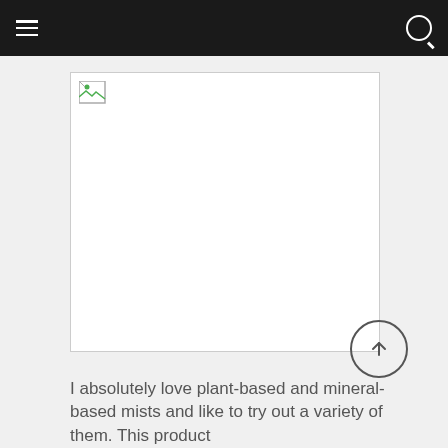☰  🔍
[Figure (screenshot): Broken image placeholder with a small icon in the top-left corner over a white rectangle with a thin gray border line extending to the right]
[Figure (other): Circular scroll-to-top button with an upward arrow inside]
I absolutely love plant-based and mineral-based mists and like to try out a variety of them. This product